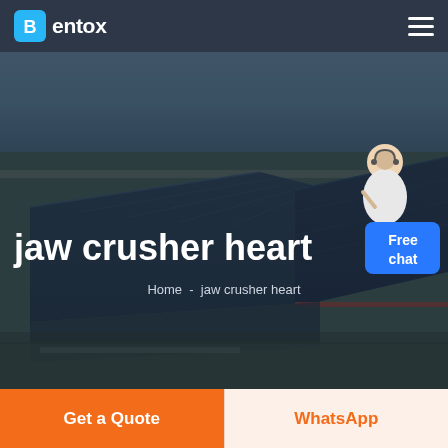entox
[Figure (photo): Aerial view of a large industrial factory complex with multiple buildings featuring dark blue roofs, surrounding roads and green fields, with a dark overlay. A customer service representative figure and a blue 'Free chat' button widget appear in the upper right corner.]
jaw crusher heart
Home  -  jaw crusher heart
Get a Quote
WhatsApp